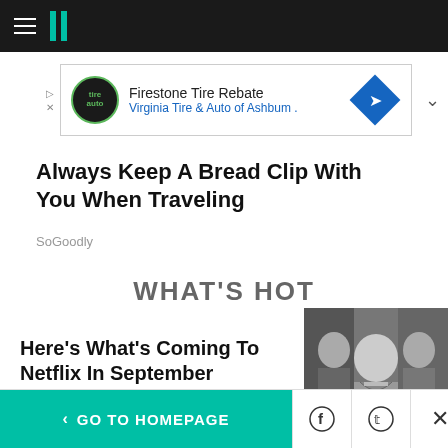HuffPost navigation bar with hamburger menu and logo
[Figure (other): Firestone Tire Rebate advertisement banner for Virginia Tire & Auto of Ashburn]
Always Keep A Bread Clip With You When Traveling
SoGoodly
WHAT'S HOT
Here's What's Coming To Netflix In September
[Figure (photo): Black and white film still showing three people, with a woman in the center wearing a low-cut dress, flanked by two men in suits]
< GO TO HOMEPAGE